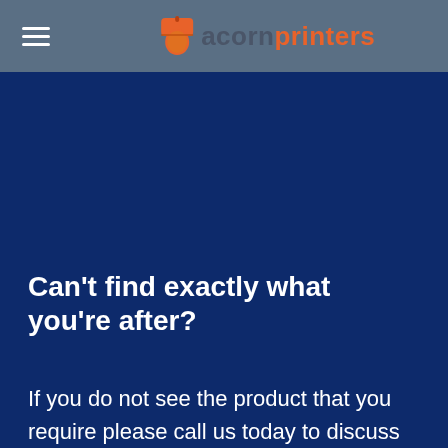[Figure (logo): Acorn Printers logo with acorn icon, 'acorn' in dark grey and 'printers' in orange]
Can't find exactly what you're after?
If you do not see the product that you require please call us today to discuss your individual